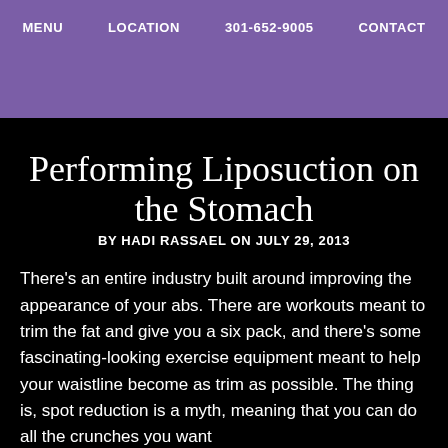MENU   LOCATION   301-652-9005   CONTACT
Performing Liposuction on the Stomach
BY HADI RASSAEL ON JULY 29, 2013
There's an entire industry built around improving the appearance of your abs. There are workouts meant to trim the fat and give you a six pack, and there's some fascinating-looking exercise equipment meant to help your waistline become as trim as possible. The thing is, spot reduction is a myth, meaning that you can do all the crunches you want